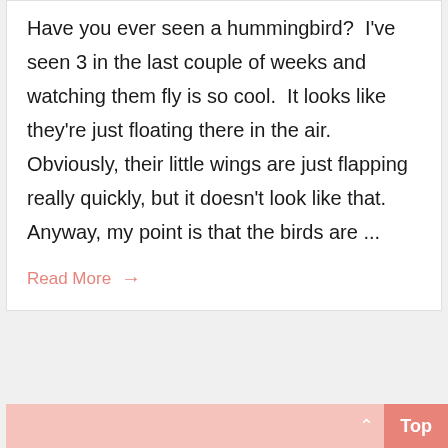Have you ever seen a hummingbird?  I've seen 3 in the last couple of weeks and watching them fly is so cool.  It looks like they're just floating there in the air.  Obviously, their little wings are just flapping really quickly, but it doesn't look like that.  Anyway, my point is that the birds are ...
Read More →